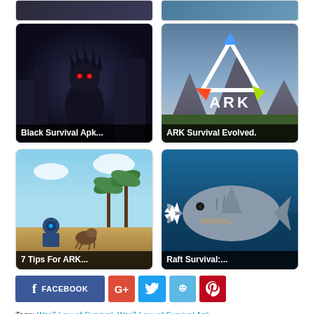[Figure (photo): Top partial row - two game thumbnails partially visible (cropped at top of page)]
[Figure (photo): Black Survival Apk game thumbnail with dark creature character]
[Figure (photo): ARK Survival Evolved game thumbnail with ARK logo]
[Figure (photo): 7 Tips For ARK game thumbnail showing survival game scene]
[Figure (photo): Raft Survival game thumbnail showing shark with open mouth]
f FACEBOOK
G+
(Twitter bird icon)
(Reddit alien icon)
(Pinterest P icon)
Tags: WarZ Law of Survival, WarZ Law of Survival Apk,